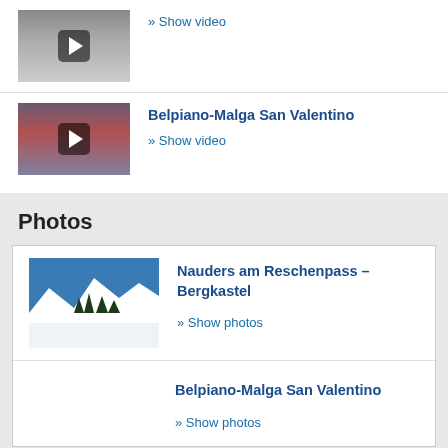[Figure (screenshot): Video thumbnail with play button, snowy mountain scene]
» Show video
[Figure (screenshot): Video thumbnail showing crowd of people on ski slope with play button]
Belpiano-Malga San Valentino
» Show video
Photos
[Figure (photo): Photo thumbnail: snowy mountain landscape with blue sky and pine trees - Nauders am Reschenpass Bergkastel]
Nauders am Reschenpass – Bergkastel
» Show photos
Belpiano-Malga San Valentino
» Show photos